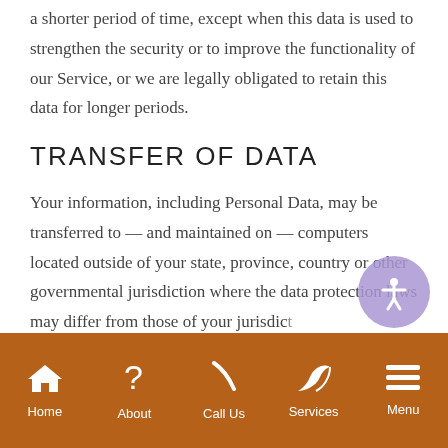a shorter period of time, except when this data is used to strengthen the security or to improve the functionality of our Service, or we are legally obligated to retain this data for longer periods.
TRANSFER OF DATA
Your information, including Personal Data, may be transferred to — and maintained on — computers located outside of your state, province, country or other governmental jurisdiction where the data protection laws may differ from those of your jurisdic…
Home | About | Call Us | Services | Menu